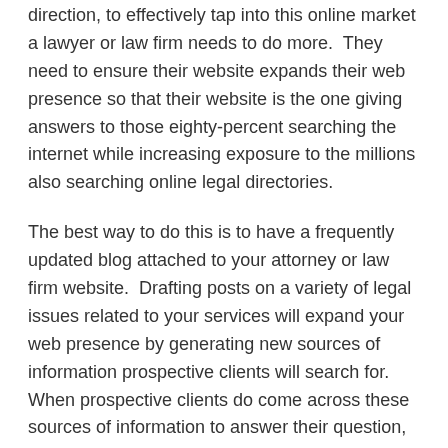direction, to effectively tap into this online market a lawyer or law firm needs to do more.  They need to ensure their website expands their web presence so that their website is the one giving answers to those eighty-percent searching the internet while increasing exposure to the millions also searching online legal directories.
The best way to do this is to have a frequently updated blog attached to your attorney or law firm website.  Drafting posts on a variety of legal issues related to your services will expand your web presence by generating new sources of information prospective clients will search for.  When prospective clients do come across these sources of information to answer their question, they are also directed to your website.  If there are any follow-up or future questions, they will contact you for the answers.